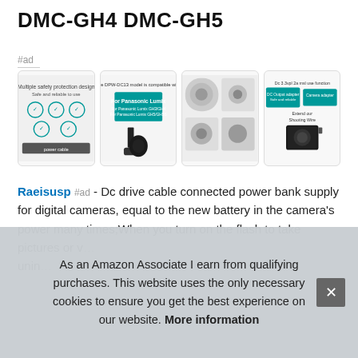DMC-GH4 DMC-GH5
#ad
[Figure (photo): Four product images showing the DC power supply cable and compatible cameras (Panasonic Lumix series)]
Raeisusp #ad - Dc drive cable connected power bank supply for digital cameras, equal to the new battery in the camera's power many times;When you turn on the flash to take pictures or v… unin…
Dc d… whi…
As an Amazon Associate I earn from qualifying purchases. This website uses the only necessary cookies to ensure you get the best experience on our website. More information